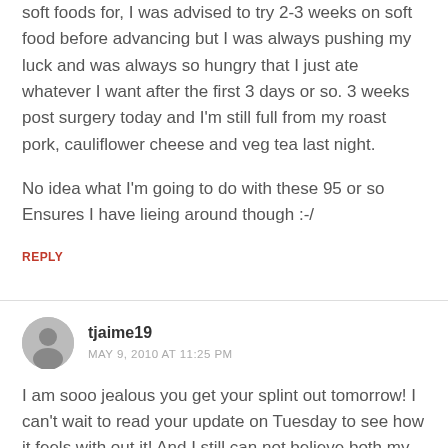Good luck! Don't know how long you'll be sticking to the soft foods for, I was advised to try 2-3 weeks on soft food before advancing but I was always pushing my luck and was always so hungry that I just ate whatever I want after the first 3 days or so. 3 weeks post surgery today and I'm still full from my roast pork, cauliflower cheese and veg tea last night.
No idea what I'm going to do with these 95 or so Ensures I have lieing around though :-/
REPLY
tjaime19
MAY 9, 2010 AT 11:25 PM
I am sooo jealous you get your splint out tomorrow! I can't wait to read your update on Tuesday to see how it feels with out it! And I still can not believe both my upper AND lower have been affected at this level!!!!! Fr…